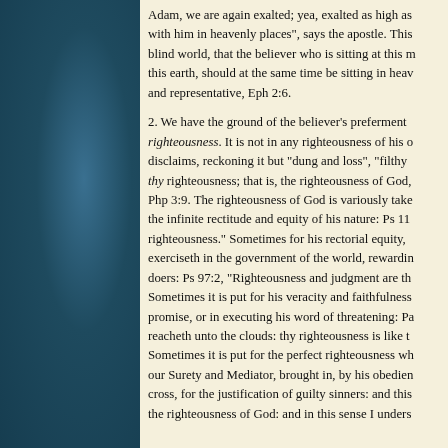Adam, we are again exalted; yea, exalted as high as with him in heavenly places", says the apostle. This blind world, that the believer who is sitting at this m this earth, should at the same time be sitting in heav and representative, Eph 2:6.
2. We have the ground of the believer's preferment righteousness. It is not in any righteousness of his o disclaims, reckoning it but "dung and loss", "filthy thy righteousness; that is, the righteousness of God, Php 3:9. The righteousness of God is variously take the infinite rectitude and equity of his nature: Ps 11 righteousness." Sometimes for his rectorial equity, exerciseth in the government of the world, rewardin doers: Ps 97:2, "Righteousness and judgment are th Sometimes it is put for his veracity and faithfulness promise, or in executing his word of threatening: Pa reacheth unto the clouds: thy righteousness is like t Sometimes it is put for the perfect righteousness wh our Surety and Mediator, brought in, by his obedien cross, for the justification of guilty sinners: and this the righteousness of God: and in this sense I unders